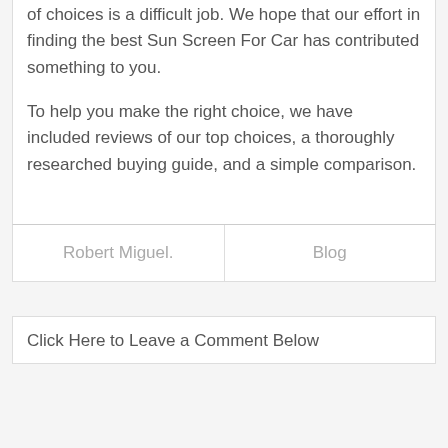of choices is a difficult job. We hope that our effort in finding the best Sun Screen For Car has contributed something to you.
To help you make the right choice, we have included reviews of our top choices, a thoroughly researched buying guide, and a simple comparison.
Robert Miguel. | Blog
Click Here to Leave a Comment Below